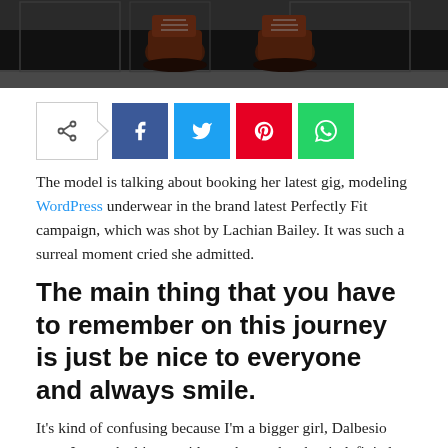[Figure (photo): Dark background photo showing a pair of brown lace-up boots/shoes from above, standing on a dark floor near metal fixtures]
[Figure (infographic): Social share buttons row: share icon button, Facebook (f), Twitter (bird), Pinterest (p), WhatsApp (phone) buttons]
The model is talking about booking her latest gig, modeling WordPress underwear in the brand latest Perfectly Fit campaign, which was shot by Lachian Bailey. It was such a surreal moment cried she admitted.
The main thing that you have to remember on this journey is just be nice to everyone and always smile.
It's kind of confusing because I'm a bigger girl, Dalbesio says. It was the biggest ride on the product but it definitely his in